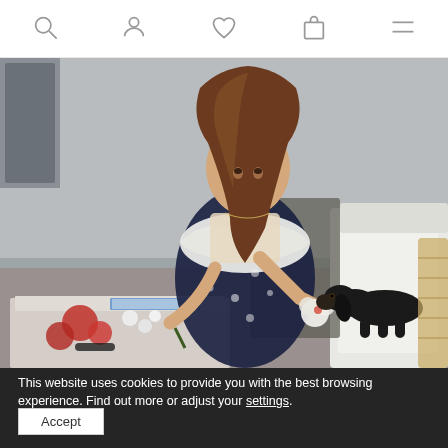Navigation icons: search, account, wishlist, cart, menu
[Figure (photo): A young woman with long brown wavy hair sits on a white outdoor sofa, wearing a navy floral dress and a white knit sweater draped over her shoulders. She is holding white flowers. A small black dachshund sits beside her. On a marble coffee table in front are red flowers and white blooms. The background shows a gray outdoor wall and a wicker chair.]
This website uses cookies to provide you with the best browsing experience. Find out more or adjust your settings.
Accept